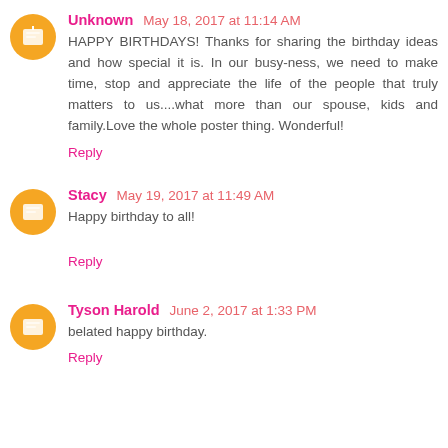Unknown May 18, 2017 at 11:14 AM
HAPPY BIRTHDAYS! Thanks for sharing the birthday ideas and how special it is. In our busy-ness, we need to make time, stop and appreciate the life of the people that truly matters to us....what more than our spouse, kids and family.Love the whole poster thing. Wonderful!
Reply
Stacy May 19, 2017 at 11:49 AM
Happy birthday to all!
Reply
Tyson Harold June 2, 2017 at 1:33 PM
belated happy birthday.
Reply